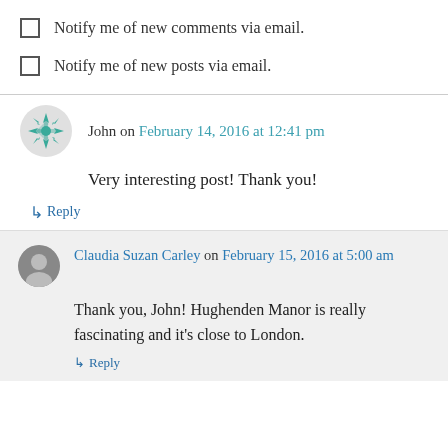Notify me of new comments via email.
Notify me of new posts via email.
John on February 14, 2016 at 12:41 pm
Very interesting post! Thank you!
↳ Reply
Claudia Suzan Carley on February 15, 2016 at 5:00 am
Thank you, John! Hughenden Manor is really fascinating and it's close to London.
↳ Reply